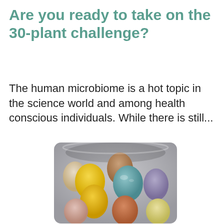Are you ready to take on the 30-plant challenge?
The human microbiome is a hot topic in the science world and among health conscious individuals. While there is still...
[Figure (photo): Overhead view of colorful dyed eggs in a grey bowl — yellow, tan/brown, teal/blue, lavender, cream, pink, orange, and pale yellow eggs]